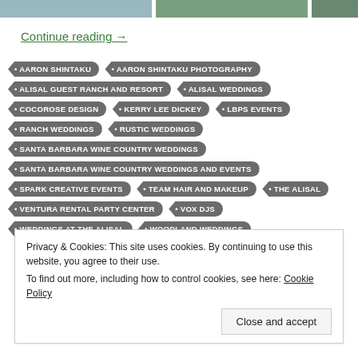[Figure (photo): Partial photo strip of wedding images at top of page]
Continue reading →
AARON SHINTAKU
AARON SHINTAKU PHOTOGRAPHY
ALISAL GUEST RANCH AND RESORT
ALISAL WEDDINGS
COCOROSE DESIGN
KERRY LEE DICKEY
LBPS EVENTS
RANCH WEDDINGS
RUSTIC WEDDINGS
SANTA BARBARA WINE COUNTRY WEDDINGS
SANTA BARBARA WINE COUNTRY WEDDINGS AND EVENTS
SPARK CREATIVE EVENTS
TEAM HAIR AND MAKEUP
THE ALISAL
VENTURA RENTAL PARTY CENTER
VOX DJS
WEDDINGS AT THE ALISAL
WOODLAND WEDDINGS
Privacy & Cookies: This site uses cookies. By continuing to use this website, you agree to their use. To find out more, including how to control cookies, see here: Cookie Policy
Close and accept